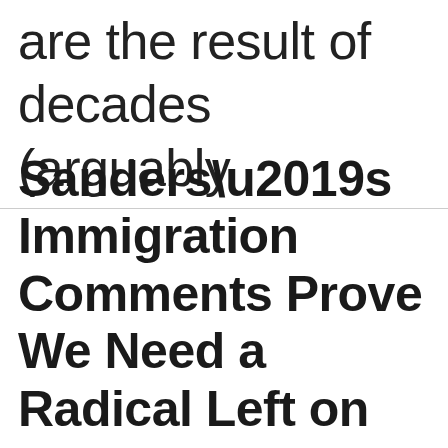are the result of decades (arguably centuries) of...
Sanders’s Immigration Comments Prove We Need a Radical Left on